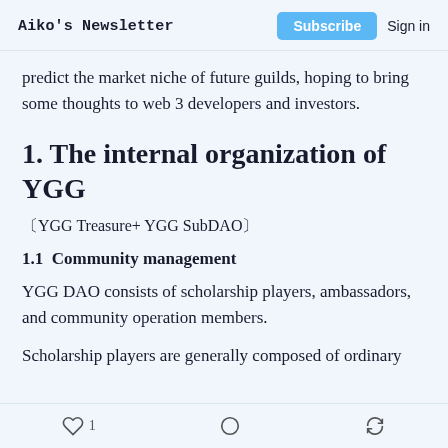Aiko's Newsletter   Subscribe   Sign in
predict the market niche of future guilds, hoping to bring some thoughts to web 3 developers and investors.
1. The internal organization of YGG
〔YGG Treasure+ YGG SubDAO〕
1.1  Community management
YGG DAO consists of scholarship players, ambassadors, and community operation members.
Scholarship players are generally composed of ordinary
♡ 1   ○   ↗